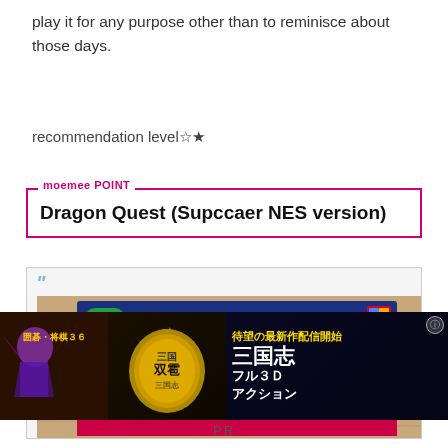play it for any purpose other than to reminisce about those days.
recommendation level☆★
moemee POINT
Dragon Quest (Supccaer NES version)
[Figure (photo): Photo of Dragon Quest I·II Super Famicom/NES cartridge box on a wooden table surface]
[Figure (photo): Japanese mobile game advertisement banner for Sangokushi (Three Kingdoms) 3D action game with text: 待望の最新作配信開始 三国志フル3Dアクション]
PR